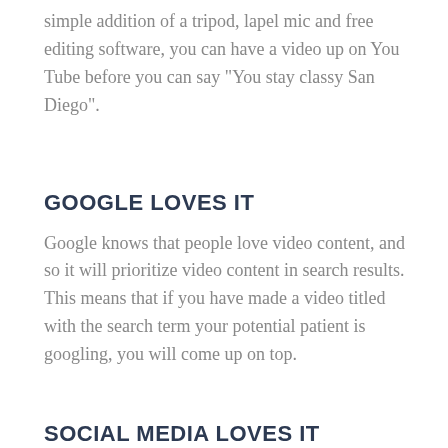simple addition of a tripod, lapel mic and free editing software, you can have a video up on You Tube before you can say "You stay classy San Diego".
GOOGLE LOVES IT
Google knows that people love video content, and so it will prioritize video content in search results. This means that if you have made a video titled with the search term your potential patient is googling, you will come up on top.
SOCIAL MEDIA LOVES IT
If you've seen the cat in a shark outfit on a robot vacuum, you will know that people love watching video content on social media. (If you haven't, do a You Tube search for, literally, 'cat in a shark outfit on